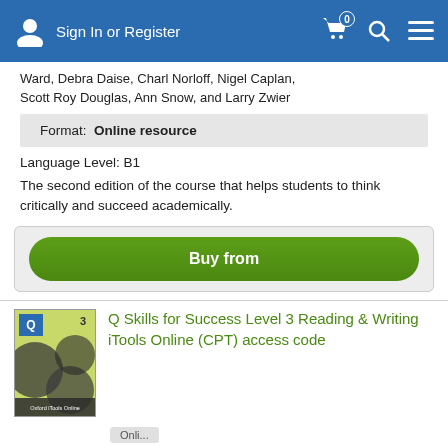Sign In or Register
Ward, Debra Daise, Charl Norloff, Nigel Caplan, Scott Roy Douglas, Ann Snow, and Larry Zwier
Format: Online resource
Language Level: B1
The second edition of the course that helps students to think critically and succeed academically.
Buy from
Q Skills for Success Level 3 Reading & Writing iTools Online (CPT) access code